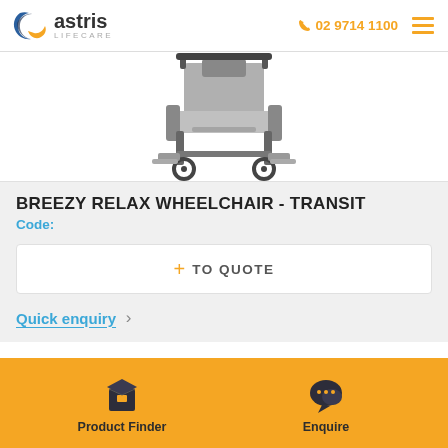astris Lifecare | 02 9714 1100
[Figure (photo): Partial view of a Breezy Relax Transit wheelchair, showing the seat, armrests, small rear wheels, and footrest against a white background.]
BREEZY RELAX WHEELCHAIR - TRANSIT
Code:
+ TO QUOTE
Quick enquiry >
Product Finder | Enquire